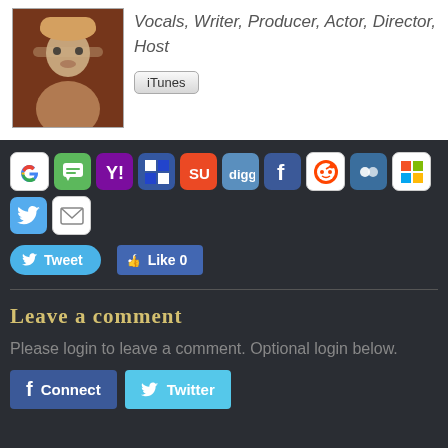Vocals, Writer, Producer, Actor, Director, Host
iTunes
[Figure (screenshot): Row of social sharing icon buttons: Google, Messenger, Yahoo, Delicious, StumbleUpon, Digg, Facebook, Reddit, MySpace, Windows, Twitter, Email]
Tweet   Like 0
Leave a comment
Please login to leave a comment. Optional login below.
Connect   Twitter
Navigation